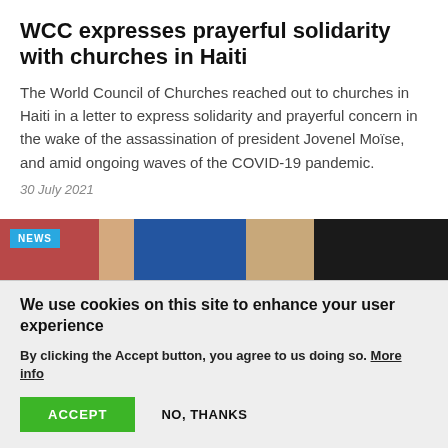WCC expresses prayerful solidarity with churches in Haiti
The World Council of Churches reached out to churches in Haiti in a letter to express solidarity and prayerful concern in the wake of the assassination of president Jovenel Moïse, and amid ongoing waves of the COVID-19 pandemic.
30 July 2021
[Figure (photo): News photo with NEWS badge overlay, showing protest signs including partial text 'IT OF THE' on red background, blue sign, and 'STOP' on dark background]
We use cookies on this site to enhance your user experience
By clicking the Accept button, you agree to us doing so. More info
ACCEPT   NO, THANKS